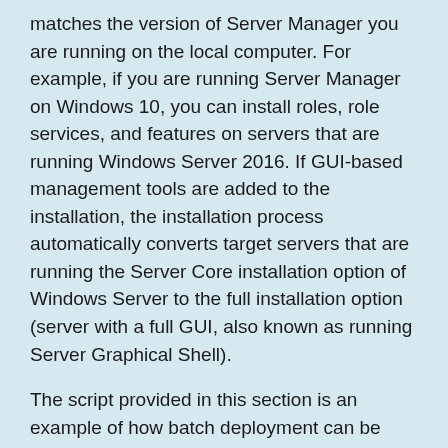matches the version of Server Manager you are running on the local computer. For example, if you are running Server Manager on Windows 10, you can install roles, role services, and features on servers that are running Windows Server 2016. If GUI-based management tools are added to the installation, the installation process automatically converts target servers that are running the Server Core installation option of Windows Server to the full installation option (server with a full GUI, also known as running Server Graphical Shell).
The script provided in this section is an example of how batch deployment can be performed by using the Install-WindowsFeature cmdlet and a Windows PowerShell script. There are other possible scripts and methods of performing batch deployment to multiple servers. To search for or provide other scripts for